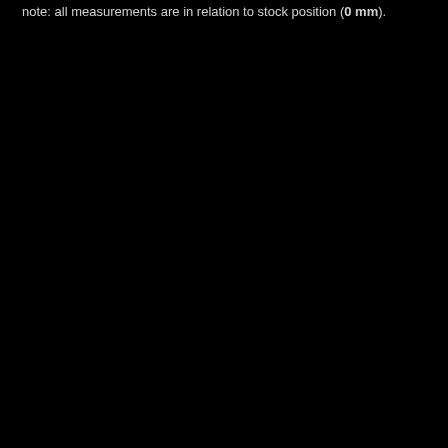note: all measurements are in relation to stock position (0 mm).